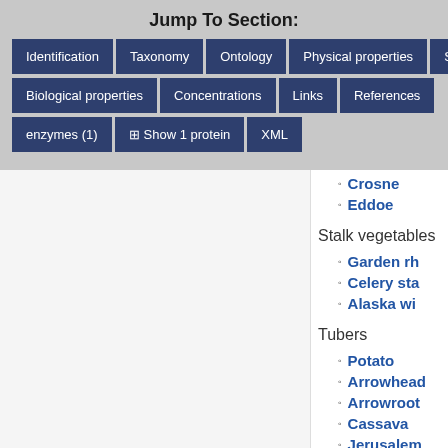Jump To Section:
Identification
Taxonomy
Ontology
Physical properties
Spectra
Biological properties
Concentrations
Links
References
enzymes (1)
Show 1 protein
XML
Crosne
Eddoe
Stalk vegetables
Garden rh
Celery sta
Alaska wi
Tubers
Potato
Arrowhead
Arrowroot
Cassava
Jerusalem
Mountain